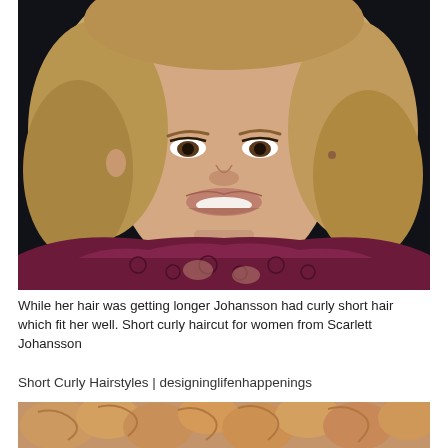[Figure (photo): Close-up photo of Scarlett Johansson smiling, with short wavy blonde hair and wearing a dark maroon/burgundy lace top. Background is dark.]
While her hair was getting longer Johansson had curly short hair which fit her well. Short curly haircut for women from Scarlett Johansson
Short Curly Hairstyles | designinglifenhappenings
[Figure (photo): Bottom portion of a photo showing curly reddish-blonde hair, cropped at the bottom of the page.]